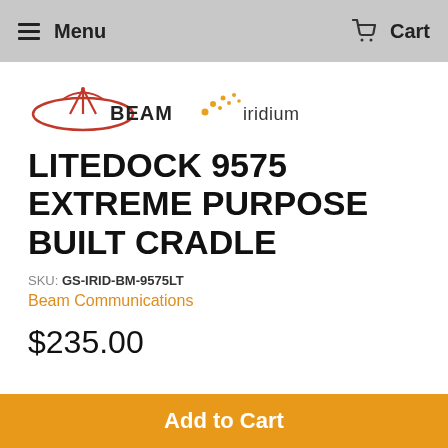Menu   Cart
[Figure (logo): Beam Communications logo (red oval with antenna graphic and BEAM text) and Iridium logo (yellow dots arc with iridium text)]
LITEDOCK 9575 EXTREME PURPOSE BUILT CRADLE
SKU: GS-IRID-BM-9575LT
Beam Communications
$235.00
Add to Cart